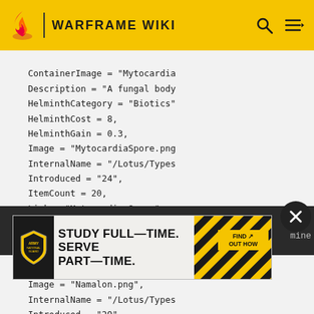WARFRAME WIKI
ContainerImage = "Mytocardia..."
Description = "A fungal body..."
HelminthCategory = "Biotics"
HelminthCost = 8,
HelminthGain = 0.3,
Image = "MytocardiaSpore.png..."
InternalName = "/Lotus/Types..."
Introduced = "24",
ItemCount = 20,
Link = "Mytocardia Spore",
Name = "Mytocardia Spore",
Parents = { "Pax Charge" }
Type = "Resource"
[Figure (screenshot): Army National Guard advertisement: STUDY FULL-TIME. SERVE PART-TIME. with FIND OUT HOW button]
Image = "Namalon.png",
InternalName = "/Lotus/Types..."
Introduced = "29",
ItemCount = 30...